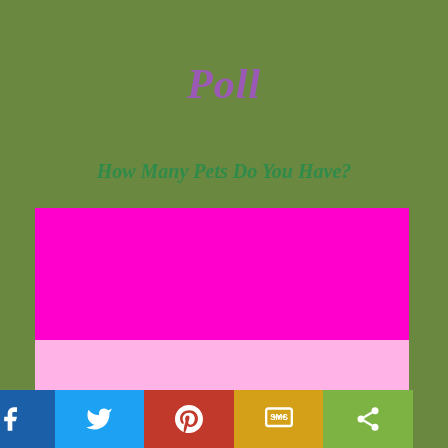Poll
How Many Pets Do You Have?
How Many Pets of any Kind Do You Have in Your Household (Count a Fish Tank as One)
none
1
2
3
4
Facebook | Twitter | Pinterest | SMS | Share